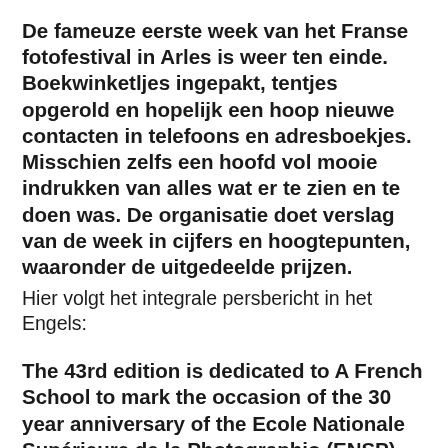De fameuze eerste week van het Franse fotofestival in Arles is weer ten einde. Boekwinketljes ingepakt, tentjes opgerold en hopelijk een hoop nieuwe contacten in telefoons en adresboekjes. Misschien zelfs een hoofd vol mooie indrukken van alles wat er te zien en te doen was. De organisatie doet verslag van de week in cijfers en hoogtepunten, waaronder de uitgedeelde prijzen.
Hier volgt het integrale persbericht in het Engels:
The 43rd edition is dedicated to A French School to mark the occasion of the 30 year anniversary of the Ecole Nationale Supérieure de la Photographie (ENSP).